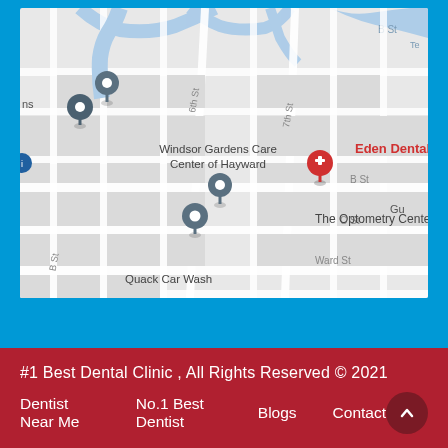[Figure (map): Google Maps screenshot showing Eden Dental Center in Hayward area. Nearby landmarks include Windsor Gardens Care Center of Hayward, The Optometry Center, Quack Car Wash. Streets visible: B St, C St, Ward St, 6th St, 7th St, Gun (partially visible).]
#1 Best Dental Clinic , All Rights Reserved © 2021
Dentist Near Me   No.1 Best Dentist   Blogs   Contact